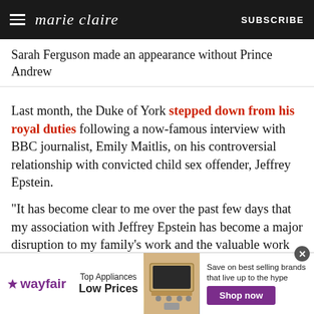marie claire  SUBSCRIBE
Sarah Ferguson made an appearance without Prince Andrew
Last month, the Duke of York stepped down from his royal duties following a now-famous interview with BBC journalist, Emily Maitlis, on his controversial relationship with convicted child sex offender, Jeffrey Epstein.
"It has become clear to me over the past few days that my association with Jeffrey Epstein has become a major disruption to my family's work and the valuable work going on in the many organizations and charities that I am proud to support," Prince
[Figure (screenshot): Wayfair advertisement banner: Top Appliances Low Prices, shop now button, image of a stove/range appliance]